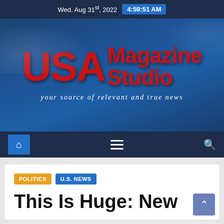Wed. Aug 31st, 2022  4:59:51 AM
[Figure (logo): USA Magazine Studio logo banner with American flag imagery and tagline: your source of relevant and true news]
Navigation bar with home icon, hamburger menu, and search icon
POLITICS
U.S. NEWS
This Is Huge: New